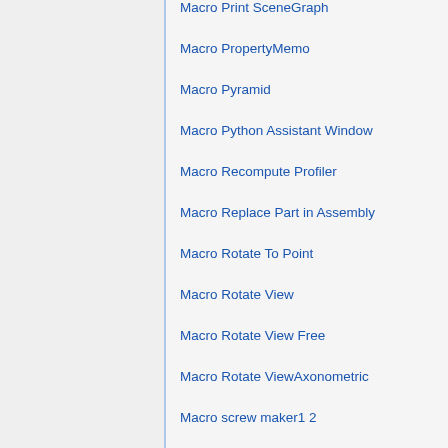Macro Print SceneGraph
Macro PropertyMemo
Macro Pyramid
Macro Python Assistant Window
Macro Recompute Profiler
Macro Replace Part in Assembly
Macro Rotate To Point
Macro Rotate View
Macro Rotate View Free
Macro Rotate ViewAxonometric
Macro screw maker1 2
Macro Shake Sketch